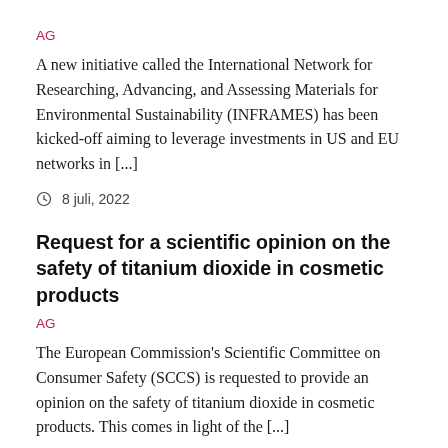AG
A new initiative called the International Network for Researching, Advancing, and Assessing Materials for Environmental Sustainability (INFRAMES) has been kicked-off aiming to leverage investments in US and EU networks in [...]
8 juli, 2022
Request for a scientific opinion on the safety of titanium dioxide in cosmetic products
AG
The European Commission's Scientific Committee on Consumer Safety (SCCS) is requested to provide an opinion on the safety of titanium dioxide in cosmetic products. This comes in light of the [...]